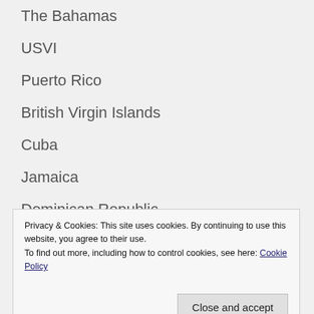The Bahamas
USVI
Puerto Rico
British Virgin Islands
Cuba
Jamaica
Dominican Republic
Cayman Islands
Antigua & Barbuda
Anguilla
Privacy & Cookies: This site uses cookies. By continuing to use this website, you agree to their use. To find out more, including how to control cookies, see here: Cookie Policy
Close and accept
St. Lucia